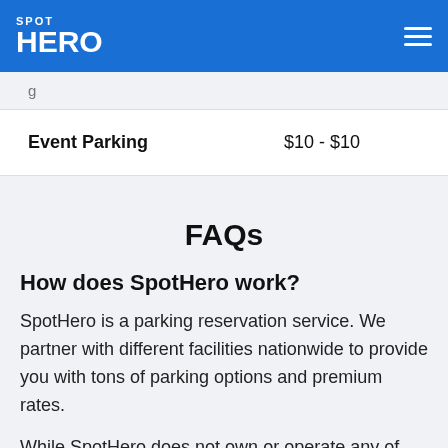SPOT HERO
| Event Parking | $10 - $10 |
FAQs
How does SpotHero work?
SpotHero is a parking reservation service. We partner with different facilities nationwide to provide you with tons of parking options and premium rates.
While SpotHero does not own or operate any of these locations, we do work very closely with the operators we partner with to ensure you have a seamless parking